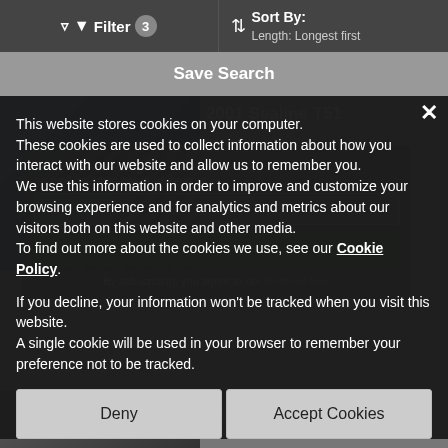Filter 3 | Sort By: Length: Longest first
Save Search
[Figure (screenshot): Background boat listing page showing 2001 Sealine T51 and 2014 Sealine S450 listings with images, partially obscured by overlays]
This website stores cookies on your computer. These cookies are used to collect information about how you interact with our website and allow us to remember you. We use this information in order to improve and customize your browsing experience and for analytics and metrics about our visitors both on this website and other media. To find out more about the cookies we use, see our Cookie Policy.
If you decline, your information won't be tracked when you visit this website. A single cookie will be used in your browser to remember your preference not to be tracked.
Deny
Accept Cookies